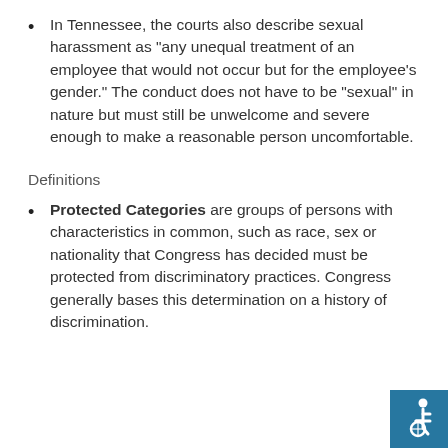In Tennessee, the courts also describe sexual harassment as "any unequal treatment of an employee that would not occur but for the employee's gender." The conduct does not have to be "sexual" in nature but must still be unwelcome and severe enough to make a reasonable person uncomfortable.
Definitions
Protected Categories are groups of persons with characteristics in common, such as race, sex or nationality that Congress has decided must be protected from discriminatory practices. Congress generally bases this determination on a history of discrimination.
[Figure (illustration): Accessibility icon (wheelchair symbol) in a teal/blue square in the bottom right corner]